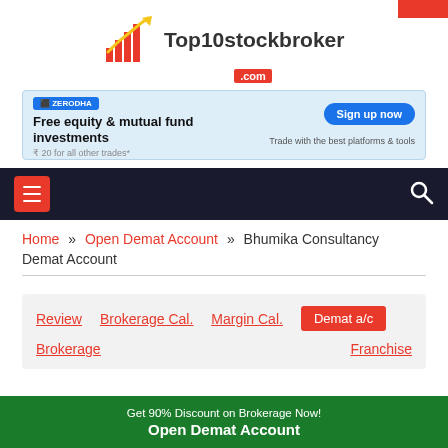[Figure (logo): Top10stockbroker.com logo with bar chart icon in orange/yellow and text]
[Figure (infographic): Zerodha advertisement banner: Free equity & mutual fund investments, Sign up now button, Trade with the best platforms & tools]
[Figure (infographic): Dark navigation bar with hamburger menu button (orange) on left and search icon on right]
Home » Open Demat Account » Bhumika Consultancy Demat Account
[Figure (infographic): Tab navigation with Review, Brokerage Cal., Margin Cal., Demat a/c (active, orange), Brokerage, Franchise links]
Bhumika Consultancy Demat Account –
Get 90% Discount on Brokerage Now! Open Demat Account